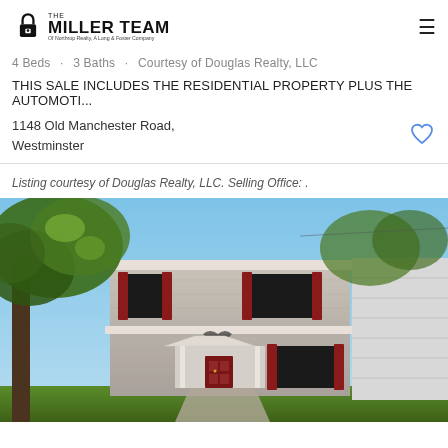The Miller Team of Northrop Realty, A Long & Foster Company
4 Beds · 3 Baths · Courtesy of Douglas Realty, LLC
THIS SALE INCLUDES THE RESIDENTIAL PROPERTY PLUS THE AUTOMOTI...
1148 Old Manchester Road,
Westminster
Listing courtesy of Douglas Realty, LLC. Selling Office: .
[Figure (photo): Exterior photo of a two-story brick house with red shutters, white trim, a front portico entry, large trees in front, and blue sky background.]